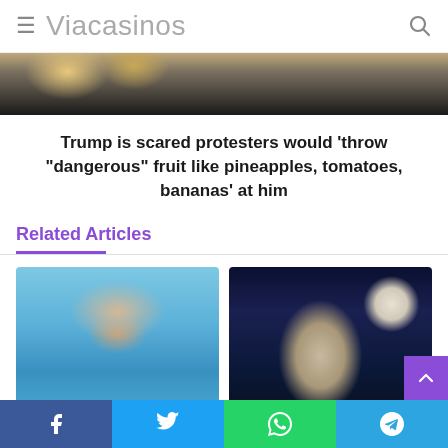≡ Viacasinos
[Figure (photo): Partial photo of a person in dark clothing, top portion visible]
Trump is scared protesters would 'throw "dangerous" fruit like pineapples, tomatoes, bananas' at him
Related Articles
[Figure (photo): Woman wearing a wide-brim straw hat outdoors near water and mountains]
[Figure (photo): Woman in white jacket singing into a microphone on stage with blue lighting]